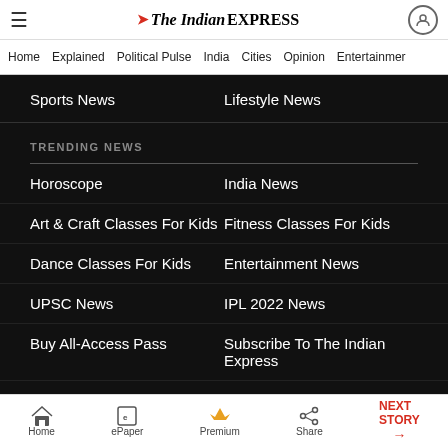The Indian EXPRESS
Home | Explained | Political Pulse | India | Cities | Opinion | Entertainment
Sports News   Lifestyle News
TRENDING NEWS
Horoscope   India News
Art & Craft Classes For Kids   Fitness Classes For Kids
Dance Classes For Kids   Entertainment News
UPSC News   IPL 2022 News
Buy All-Access Pass   Subscribe To The Indian Express
Buy Digital Premium   Amitabh Bachchan Covid Positive
Home  ePaper  Premium  Share  NEXT STORY